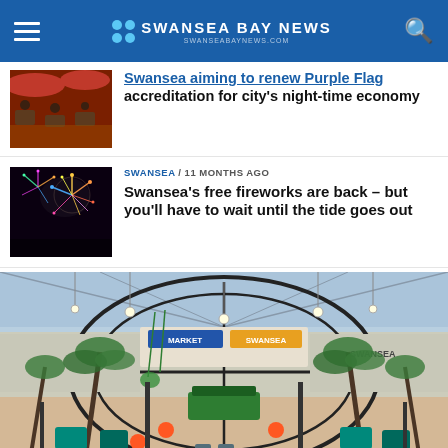Swansea Bay News - swanseabaynews.com
Swansea aiming to renew Purple Flag accreditation for city's night-time economy
SWANSEA / 11 months ago
Swansea's free fireworks are back – but you'll have to wait until the tide goes out
[Figure (photo): Interior architectural rendering of a large market hall or shopping centre with an arched glass roof, palm trees, colourful seating, and market stalls including one labelled SWANSEA.]